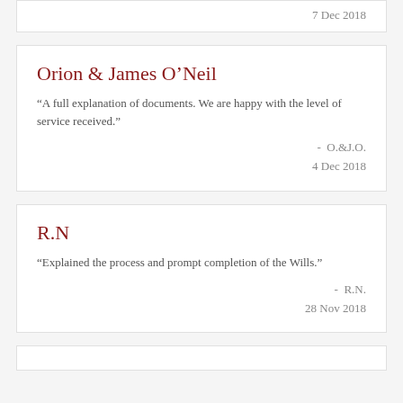7 Dec 2018
Orion & James O’Neil
“A full explanation of documents. We are happy with the level of service received.”
- O.&J.O.
4 Dec 2018
R.N
“Explained the process and prompt completion of the Wills.”
- R.N.
28 Nov 2018